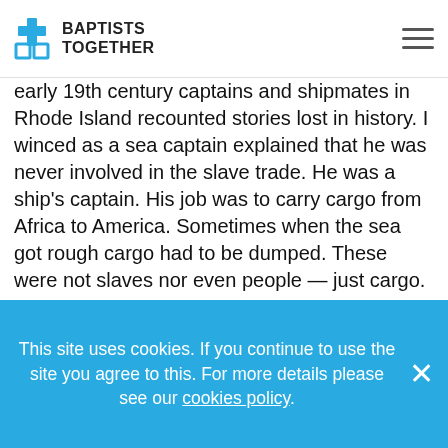BAPTISTS TOGETHER
early 19th century captains and shipmates in Rhode Island recounted stories lost in history. I winced as a sea captain explained that he was never involved in the slave trade. He was a ship's captain. His job was to carry cargo from Africa to America. Sometimes when the sea got rough cargo had to be dumped. These were not slaves nor even people — just cargo.
Against this background Metaxas offers an interesting, informative, very readable and factual account of Wilberforce's life from childhood through to the abolition of the Slave Trade, presenting him as an
This site uses cookies. If you continue to use the site you agree to this. For more details please see our cookies policy.